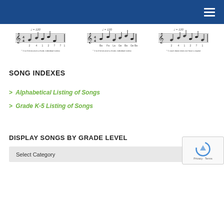[Figure (illustration): Three music notation snippets showing sheet music with notes on staves]
SONG INDEXES
> Alphabetical Listing of Songs
> Grade K-5 Listing of Songs
DISPLAY SONGS BY GRADE LEVEL
Select Category